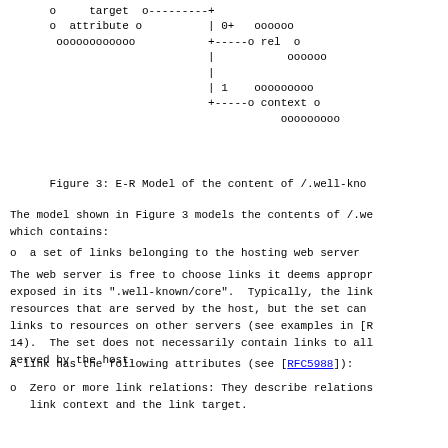[Figure (engineering-diagram): E-R Model diagram (ASCII art) showing entities: target, attribute, oooooooooooo, rel, context with cardinality annotations 0+ and 1]
Figure 3: E-R Model of the content of /.well-kno
The model shown in Figure 3 models the contents of /.we which contains:
o  a set of links belonging to the hosting web server
The web server is free to choose links it deems appropr exposed in its ".well-known/core".  Typically, the link resources that are served by the host, but the set can links to resources on other servers (see examples in [R 14).  The set does not necessarily contain links to all served by the host.
A link has the following attributes (see [RFC5988]):
o  Zero or more link relations: They describe relations link context and the link target.